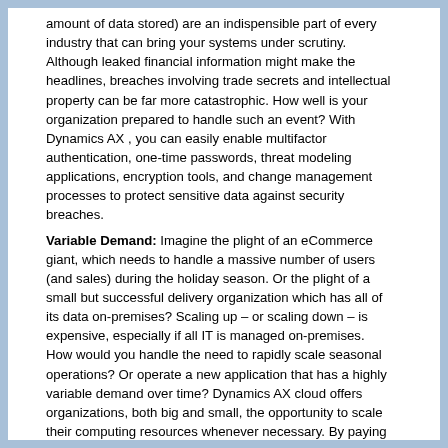amount of data stored) are an indispensible part of every industry that can bring your systems under scrutiny. Although leaked financial information might make the headlines, breaches involving trade secrets and intellectual property can be far more catastrophic. How well is your organization prepared to handle such an event? With Dynamics AX , you can easily enable multifactor authentication, one-time passwords, threat modeling applications, encryption tools, and change management processes to protect sensitive data against security breaches.
Variable Demand: Imagine the plight of an eCommerce giant, which needs to handle a massive number of users (and sales) during the holiday season. Or the plight of a small but successful delivery organization which has all of its data on-premises? Scaling up – or scaling down – is expensive, especially if all IT is managed on-premises. How would you handle the need to rapidly scale seasonal operations? Or operate a new application that has a highly variable demand over time? Dynamics AX cloud offers organizations, both big and small, the opportunity to scale their computing resources whenever necessary. By paying only for your computing and utilizing automated